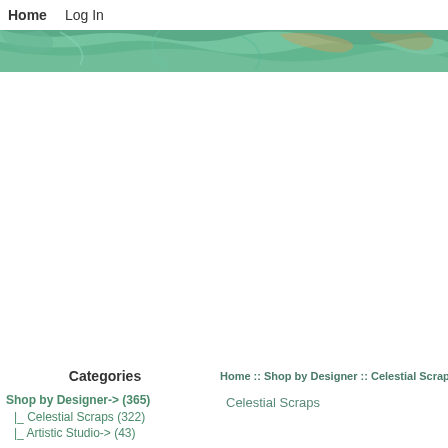Home   Log In
[Figure (illustration): A decorative banner image with swirling green, teal, and white marble-like patterns with some golden-brown organic shapes.]
Home :: Shop by Designer :: Celestial Scraps :: CU
Celestial Scraps
Categories
Shop by Designer-> (365)
|_ Celestial Scraps (322)
|_ Artistic Studio-> (43)